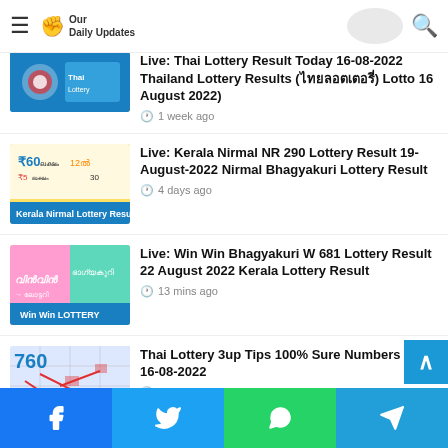Our Daily Updates
Live: Thai Lottery Result Today 16-08-2022 Thailand Lottery Results (ไทยลอตเตอรี่) Lotto 16 August 2022)
1 week ago
Live: Kerala Nirmal NR 290 Lottery Result 19-August-2022 Nirmal Bhagyakuri Lottery Result
4 days ago
Live: Win Win Bhagyakuri W 681 Lottery Result 22 August 2022 Kerala Lottery Result
13 mins ago
Thai Lottery 3up Tips 100% Sure Numbers For 16-08-2022
1 week ago
Facebook Twitter WhatsApp Telegram